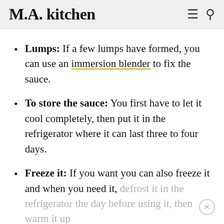M.A. kitchen
Lumps: If a few lumps have formed, you can use an immersion blender to fix the sauce.
To store the sauce: You first have to let it cool completely, then put it in the refrigerator where it can last three to four days.
Freeze it: If you want you can also freeze it and when you need it, defrost it in the refrigerator the day before using it, then warm it up